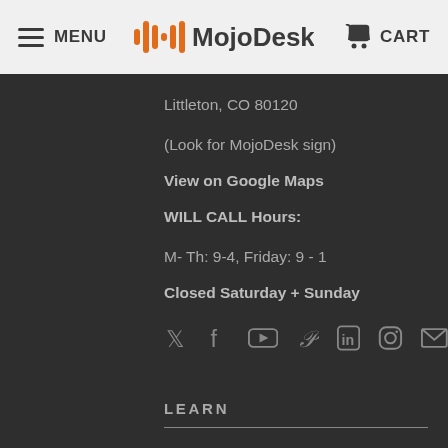MENU | MojoDesk | CART
Littleton, CO 80120
(Look for MojoDesk sign)
View on Google Maps
WILL CALL Hours:
M- Th: 9-4, Friday: 9 - 1
Closed Saturday + Sunday
[Figure (other): Social media icons row: Twitter, Facebook, YouTube, Pinterest, LinkedIn, Instagram, Email]
LEARN
Instructions
Quick Fixes